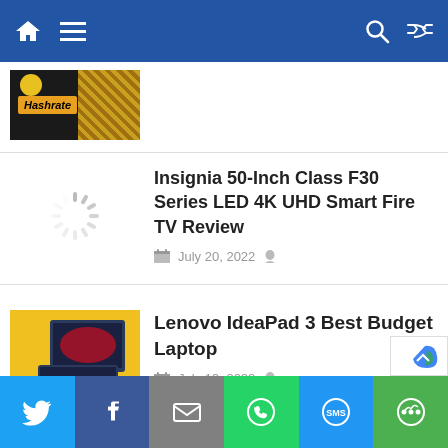Navigation bar with home, menu, search, and shuffle icons
[Figure (screenshot): Partial thumbnail showing Hashrate text on dark/gold background]
Insignia 50-Inch Class F30 Series LED 4K UHD Smart Fire TV Review
July 20, 2022
[Figure (photo): Lenovo IdeaPad 3 laptop on yellow background with NEW LENOVO IDEAPAD 3 text]
Lenovo IdeaPad 3 Best Budget Laptop
July 19, 2022
[Figure (screenshot): Partial thumbnail for another article]
Social share bar: Twitter, Facebook, Email, WhatsApp, SMS, More